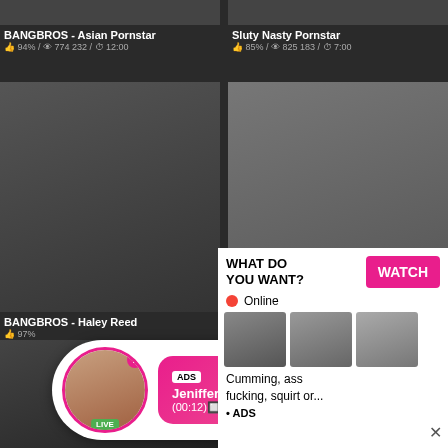BANGBROS - Asian Pornstar
👍 94% / 👁 774 232 / ⏱ 12:00
Sluty Nasty Pornstar
👍 85% / 👁 825 183 / ⏱ 7:00
[Figure (screenshot): Video thumbnail left middle]
[Figure (screenshot): Video thumbnail right middle]
BANGBROS - Haley Reed
👍 97%
Japanese Mom First Time
[Figure (screenshot): Ad overlay popup with avatar, LIVE badge, ADS label, name Jeniffer 2000, time (00:12)]
[Figure (screenshot): Ad overlay: WHAT DO YOU WANT? WATCH button, Online status, thumbnail images, text: Cumming, ass fucking, squirt or... • ADS]